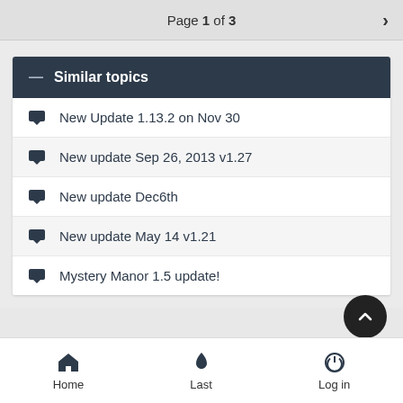Page 1 of 3
Similar topics
New Update 1.13.2 on Nov 30
New update Sep 26, 2013 v1.27
New update Dec6th
New update May 14 v1.21
Mystery Manor 1.5 update!
Home  Last  Log in